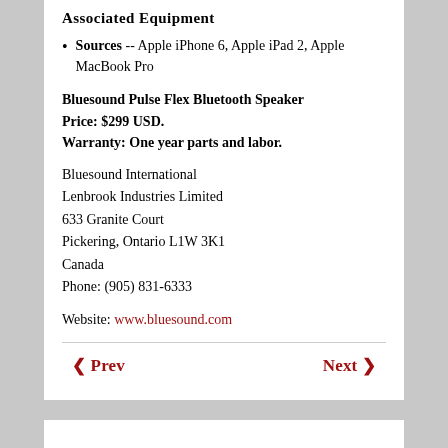Associated Equipment
Sources -- Apple iPhone 6, Apple iPad 2, Apple MacBook Pro
Bluesound Pulse Flex Bluetooth Speaker
Price: $299 USD.
Warranty: One year parts and labor.
Bluesound International
Lenbrook Industries Limited
633 Granite Court
Pickering, Ontario L1W 3K1
Canada
Phone: (905) 831-6333
Website: www.bluesound.com